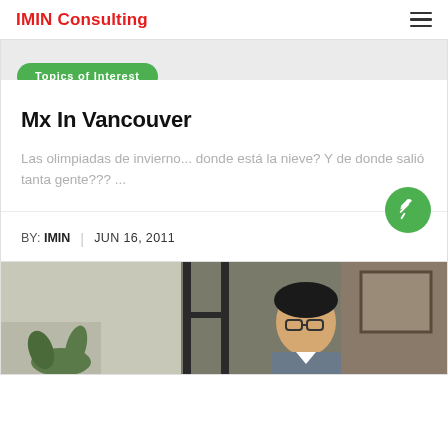IMIN Consulting
Topics of Interest
Mx In Vancouver
Las olimpiadas de invierno... donde está la nieve? Y de donde salió tanta gente??? ...
BY: IMIN | JUN 16, 2011
[Figure (photo): Photo of a person sitting indoors, wearing glasses, with windows and a framed picture in the background]